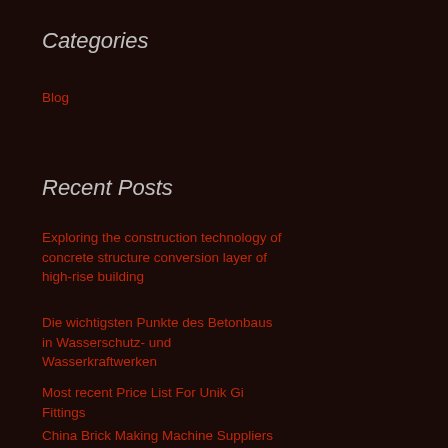Categories
Blog
Recent Posts
Exploring the construction technology of concrete structure conversion layer of high-rise building
Die wichtigsten Punkte des Betonbaus in Wasserschutz- und Wasserkraftwerken
Most recent Price List For Unik Gi Fittings
China Brick Making Machine Suppliers and Manufacturers and